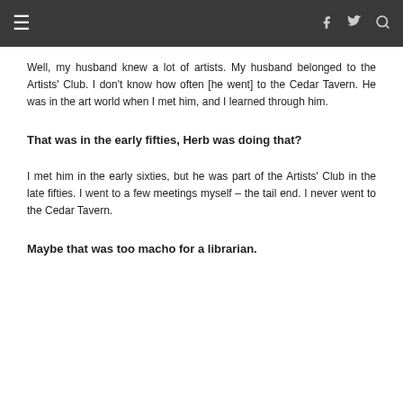≡  f  🐦  🔍
Well, my husband knew a lot of artists. My husband belonged to the Artists' Club. I don't know how often [he went] to the Cedar Tavern. He was in the art world when I met him, and I learned through him.
That was in the early fifties, Herb was doing that?
I met him in the early sixties, but he was part of the Artists' Club in the late fifties. I went to a few meetings myself – the tail end. I never went to the Cedar Tavern.
Maybe that was too macho for a librarian.